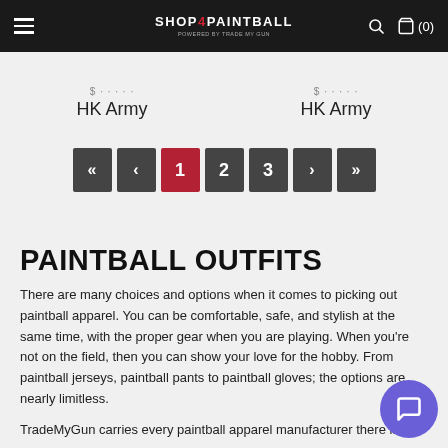Shop4Paintball — navigation bar with logo, search and cart (0)
HK Army   HK Army
[Figure (screenshot): Pagination control with buttons: «, ‹, 1 (active/red), 2, 3, ›, »]
PAINTBALL OUTFITS
There are many choices and options when it comes to picking out paintball apparel. You can be comfortable, safe, and stylish at the same time, with the proper gear when you are playing. When you're not on the field, then you can show your love for the hobby. From paintball jerseys, paintball pants to paintball gloves; the options are nearly limitless.
TradeMyGun carries every paintball apparel manufacturer there is